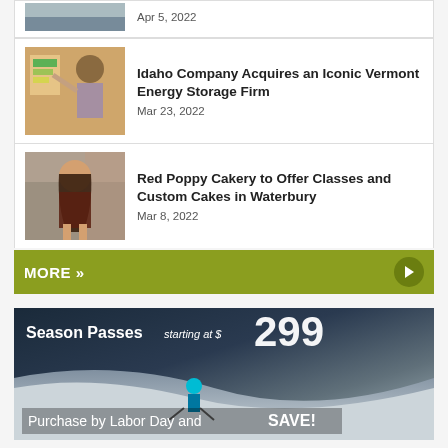[Figure (photo): Partial top thumbnail of a snowy mountain scene, cropped]
Apr 5, 2022
[Figure (photo): Man pointing at an energy rating display board indoors]
Idaho Company Acquires an Iconic Vermont Energy Storage Firm
Mar 23, 2022
[Figure (photo): Smiling woman with long brown hair holding cake decorating supplies, wearing a brown t-shirt]
Red Poppy Cakery to Offer Classes and Custom Cakes in Waterbury
Mar 8, 2022
MORE »
[Figure (photo): Advertisement banner: Season Passes starting at $299 — Purchase by Labor Day and SAVE! — shows skier on snowy slope]